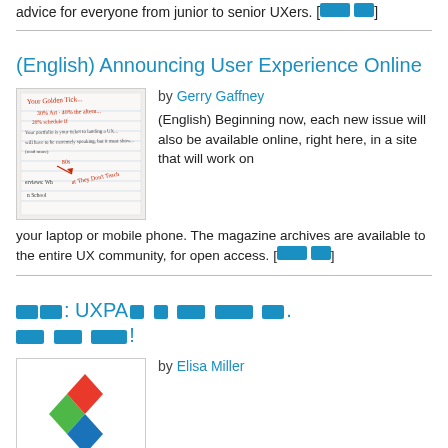advice for everyone from junior to senior UXers. [XXX XX]
(English) Announcing User Experience Online
[Figure (photo): Magazine cover or article image showing handwritten notes and text about UX topics]
by Gerry Gaffney
(English) Beginning now, each new issue will also be available online, right here, in a site that will work on your laptop or mobile phone. The magazine archives are available to the entire UX community, for open access. [XXX XX]
XX XX: UXPAX X XXX XXXX XX. XXX XXX XXXX!
[Figure (logo): UXPA logo with colorful diamond shapes]
by Elisa Miller